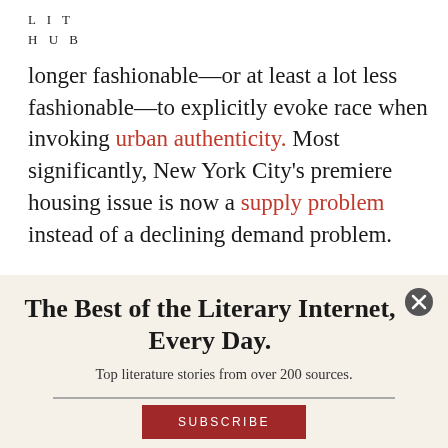LIT
HUB
longer fashionable—or at least a lot less fashionable—to explicitly evoke race when invoking urban authenticity. Most significantly, New York City's premiere housing issue is now a supply problem instead of a declining demand problem.
The Best of the Literary Internet, Every Day.
Top literature stories from over 200 sources.